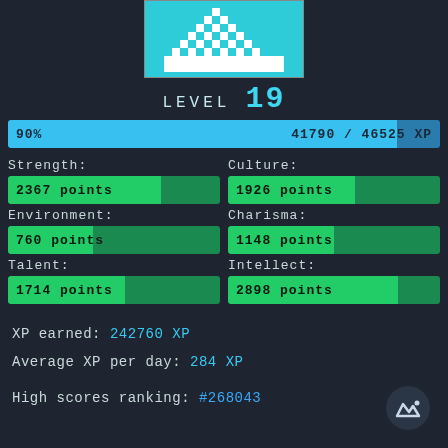[Figure (illustration): Pixel art image showing a white mountain/hill shape on a cyan/teal background, displayed in a rectangular frame at the top center.]
LEVEL 19
[Figure (infographic): XP progress bar showing 90% filled in cyan/blue. Left label: 90%, Right label: 41790 / 46525 XP]
Strength:
[Figure (infographic): Green progress bar: 2367 points]
Culture:
[Figure (infographic): Green progress bar: 1926 points]
Environment:
[Figure (infographic): Green progress bar: 760 points]
Charisma:
[Figure (infographic): Green progress bar: 1148 points]
Talent:
[Figure (infographic): Green progress bar: 1714 points]
Intellect:
[Figure (infographic): Green progress bar: 2898 points]
XP earned: 242760 XP
Average XP per day: 284 XP
High scores ranking: #268043